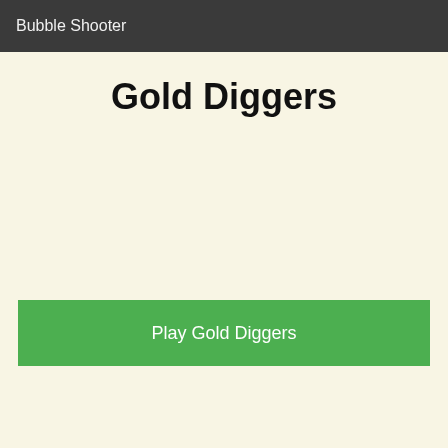Bubble Shooter
Gold Diggers
Play Gold Diggers